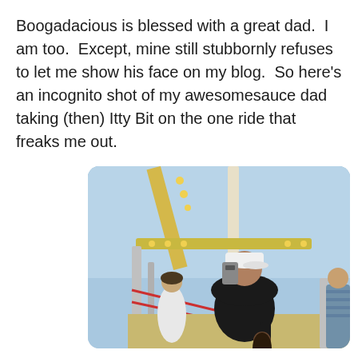Boogadacious is blessed with a great dad.  I am too.  Except, mine still stubbornly refuses to let me show his face on my blog.  So here's an incognito shot of my awesomesauce dad taking (then) Itty Bit on the one ride that freaks me out.
[Figure (photo): Incognito outdoor photo at a fairground ride. A large man in a black t-shirt and white cap stands with his back to the camera, holding the hand of a small child in dark clothing. A woman in a white shirt stands to the left. Yellow and white metal ride structure and a bright blue sky are visible in the background. Another person in a striped shirt is partially visible on the right.]